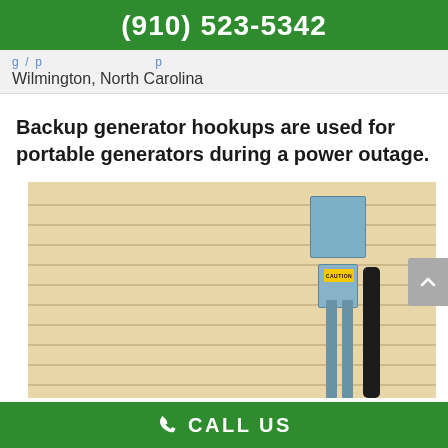(910) 523-5342
Wilmington, North Carolina
Backup generator hookups are used for portable generators during a power outage.
[Figure (photo): Photo of a backup generator hookup mounted on the side of a house with cream-colored vinyl siding. A blue electrical panel box is mounted on the wall with two blue conduit pipes and a black cable running down from it. A yellow caution label is visible on the box.]
CALL US